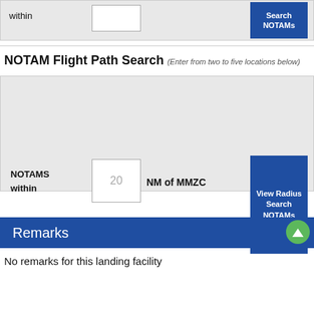within
NOTAM Flight Path Search (Enter from two to five locations below)
NOTAMS within 20 NM of MMZC
View Radius Search NOTAMs
Remarks
No remarks for this landing facility